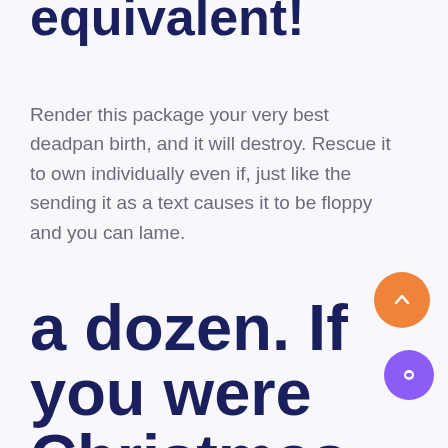equivalent!
Render this package your very best deadpan birth, and it will destroy. Rescue it to own individually even if, just like the sending it as a text causes it to be floppy and you can lame.
a dozen. If you were Christmas time. |